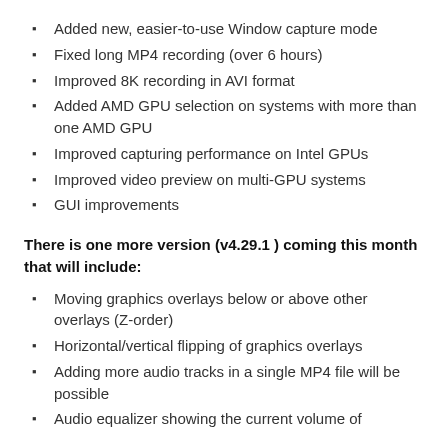Added new, easier-to-use Window capture mode
Fixed long MP4 recording (over 6 hours)
Improved 8K recording in AVI format
Added AMD GPU selection on systems with more than one AMD GPU
Improved capturing performance on Intel GPUs
Improved video preview on multi-GPU systems
GUI improvements
There is one more version (v4.29.1 ) coming this month that will include:
Moving graphics overlays below or above other overlays (Z-order)
Horizontal/vertical flipping of graphics overlays
Adding more audio tracks in a single MP4 file will be possible
Audio equalizer showing the current volume of